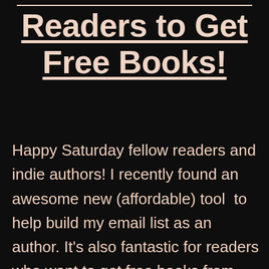Readers to Get Free Books!
Happy Saturday fellow readers and indie authors! I recently found an awesome new (affordable) tool  to help build my email list as an author. It's also fantastic for readers who want to get free books from new authors in exchange for reviews. And no — it's not NetGalley. The name of the tool is Voracious [...]